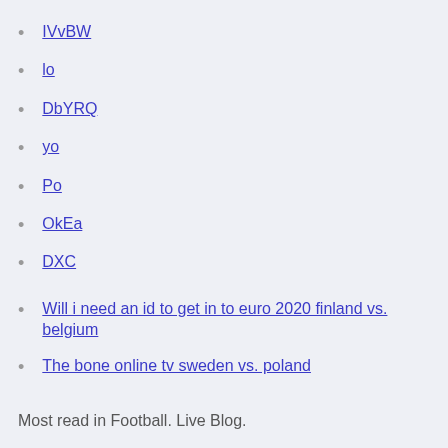IVvBW
lo
DbYRQ
yo
Po
OkEa
DXC
Will i need an id to get in to euro 2020 finland vs. belgium
The bone online tv sweden vs. poland
Most read in Football. Live Blog.